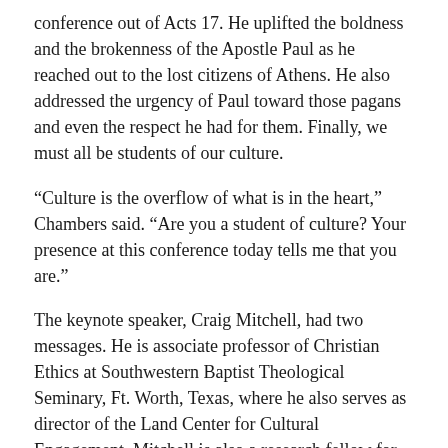conference out of Acts 17. He uplifted the boldness and the brokenness of the Apostle Paul as he reached out to the lost citizens of Athens. He also addressed the urgency of Paul toward those pagans and even the respect he had for them. Finally, we must all be students of our culture.
“Culture is the overflow of what is in the heart,” Chambers said. “Are you a student of culture? Your presence at this conference today tells me that you are.”
The keynote speaker, Craig Mitchell, had two messages. He is associate professor of Christian Ethics at Southwestern Baptist Theological Seminary, Ft. Worth, Texas, where he also serves as director of the Land Center for Cultural Engagement. Mitchell is also a research fellow for the Ethics & Religious Liberty Commission (ERLC) of the Southern Baptist Convention (SBC).